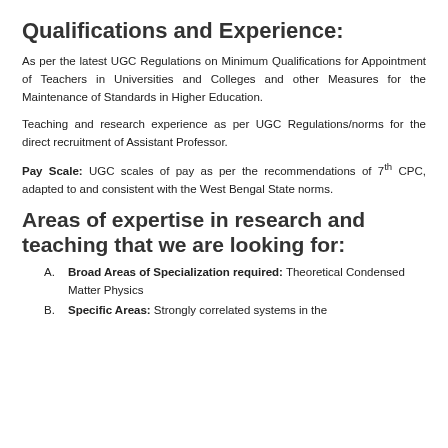Qualifications and Experience:
As per the latest UGC Regulations on Minimum Qualifications for Appointment of Teachers in Universities and Colleges and other Measures for the Maintenance of Standards in Higher Education.
Teaching and research experience as per UGC Regulations/norms for the direct recruitment of Assistant Professor.
Pay Scale: UGC scales of pay as per the recommendations of 7th CPC, adapted to and consistent with the West Bengal State norms.
Areas of expertise in research and teaching that we are looking for:
A. Broad Areas of Specialization required: Theoretical Condensed Matter Physics
B. Specific Areas: Strongly correlated systems in the